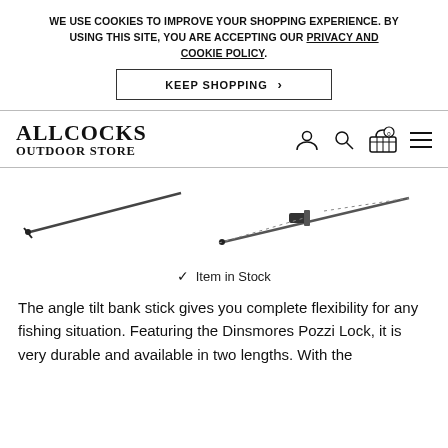WE USE COOKIES TO IMPROVE YOUR SHOPPING EXPERIENCE. BY USING THIS SITE, YOU ARE ACCEPTING OUR PRIVACY AND COOKIE POLICY.
KEEP SHOPPING >
[Figure (logo): Allcocks Outdoor Store logo with navigation icons (user, search, basket with 0, menu)]
[Figure (photo): Two angle tilt bank sticks shown diagonally on a white background]
✓ Item in Stock
The angle tilt bank stick gives you complete flexibility for any fishing situation. Featuring the Dinsmores Pozzi Lock, it is very durable and available in two lengths. With the